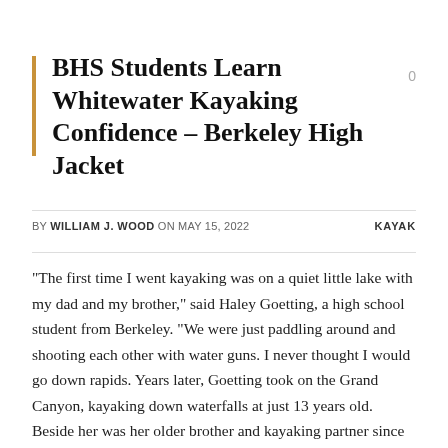BHS Students Learn Whitewater Kayaking Confidence – Berkeley High Jacket
BY WILLIAM J. WOOD ON MAY 15, 2022   KAYAK
“The first time I went kayaking was on a quiet little lake with my dad and my brother,” said Haley Goetting, a high school student from Berkeley. “We were just paddling around and shooting each other with water guns. I never thought I would go down rapids. Years later, Goetting took on the Grand Canyon, kayaking down waterfalls at just 13 years old. Beside her was her older brother and kayaking partner since they first attended kayak camp as children. Goetting and his brother Dylan have traveled rivers